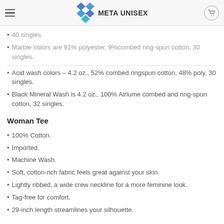META UNISEX
40 singles.
Marble colors are 91% polyester, 9% combed ring-spun cotton, 30 singles.
Acid wash colors – 4.2 oz., 52% combed ringspun cotton, 48% poly, 30 singles.
Black Mineral Wash is 4.2 oz., 100% Airlume combed and ring-spun cotton, 32 singles.
Woman Tee
100% Cotton.
Imported.
Machine Wash.
Soft, cotton-rich fabric feels great against your skin.
Lightly ribbed, a wide crew neckline for a more feminine look.
Tag-free for comfort.
29-inch length streamlines your silhouette.